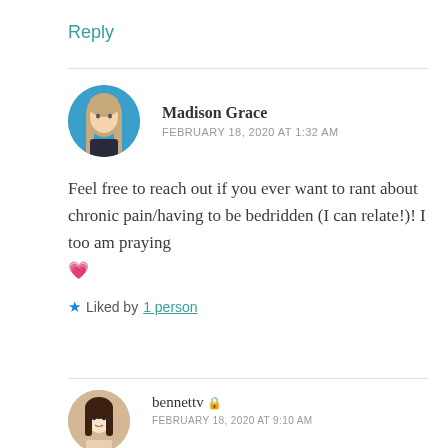Reply
Madison Grace
FEBRUARY 18, 2020 AT 1:32 AM
Feel free to reach out if you ever want to rant about chronic pain/having to be bedridden (I can relate!)! I too am praying 💗
★ Liked by 1 person
bennettv 🔒
FEBRUARY 18, 2020 AT 9:10 AM